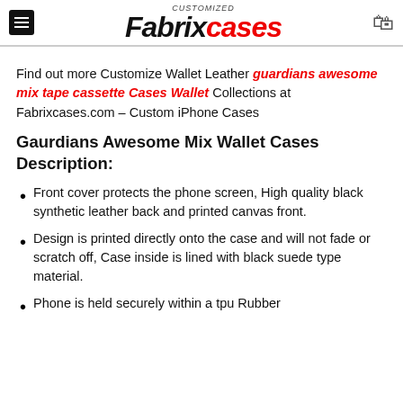Fabrixcases — Customized
Find out more Customize Wallet Leather guardians awesome mix tape cassette Cases Wallet Collections at Fabrixcases.com – Custom iPhone Cases
Gaurdians Awesome Mix Wallet Cases Description:
Front cover protects the phone screen, High quality black synthetic leather back and printed canvas front.
Design is printed directly onto the case and will not fade or scratch off, Case inside is lined with black suede type material.
Phone is held securely within a tpu Rubber